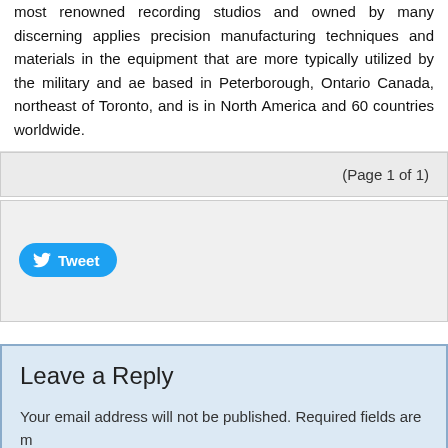most renowned recording studios and owned by many discerning applies precision manufacturing techniques and materials in the equipment that are more typically utilized by the military and ae based in Peterborough, Ontario Canada, northeast of Toronto, and is in North America and 60 countries worldwide.
(Page 1 of 1)
[Figure (other): Social share bar with a Tweet button]
Leave a Reply
Your email address will not be published. Required fields are m